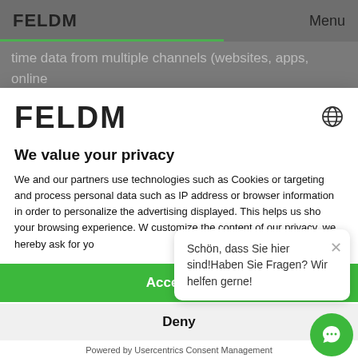FELDM   Menu
time data from multiple channels (websites, apps, online and offline channels). The tool helps to understand how users interact with digital experiences on different devices
FELDM
We value your privacy
We and our partners use technologies such as Cookies or targeting and process personal data such as IP address or browser information in order to personalize the advertising displayed. This helps us sho your browsing experience. W customize the content of our privacy, we hereby ask for yo
Accept All
Deny
Schön, dass Sie hier sind!Haben Sie Fragen? Wir helfen gerne!
Powered by Usercentrics Consent Management